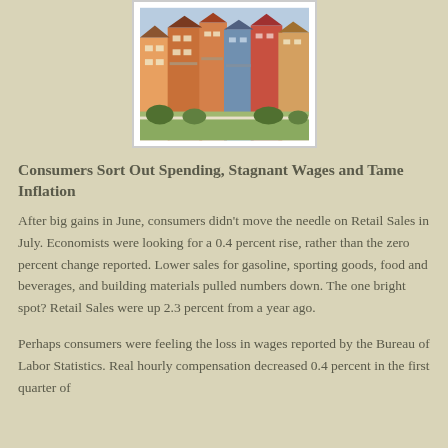[Figure (photo): Photograph of colorful townhouses/row houses along a waterfront, with balconies and a grassy area in front.]
Consumers Sort Out Spending, Stagnant Wages and Tame Inflation
After big gains in June, consumers didn't move the needle on Retail Sales in July. Economists were looking for a 0.4 percent rise, rather than the zero percent change reported. Lower sales for gasoline, sporting goods, food and beverages, and building materials pulled numbers down. The one bright spot? Retail Sales were up 2.3 percent from a year ago.
Perhaps consumers were feeling the loss in wages reported by the Bureau of Labor Statistics. Real hourly compensation decreased 0.4 percent in the first quarter of